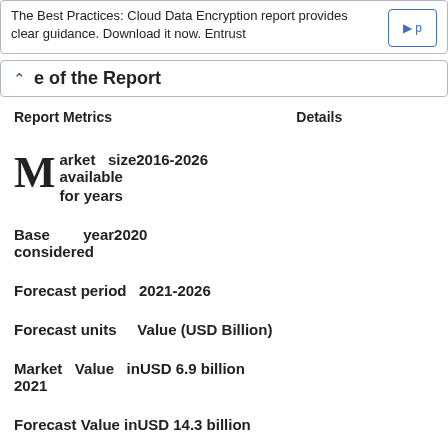The Best Practices: Cloud Data Encryption report provides clear guidance. Download it now. Entrust
e of the Report
| Report Metrics | Details |
| --- | --- |
| Market size2016-2026 available for years |  |
| Base year considered | 2020 |
| Forecast period | 2021-2026 |
| Forecast units | Value (USD Billion) |
| Market Value in 2021 | USD 6.9 billion |
| Forecast Value | inUSD 14.3 billion |